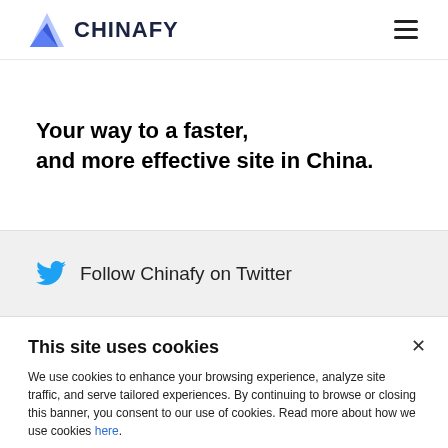CHINAFY
Your way to a faster, and more effective site in China.
Follow Chinafy on Twitter
This site uses cookies
We use cookies to enhance your browsing experience, analyze site traffic, and serve tailored experiences. By continuing to browse or closing this banner, you consent to our use of cookies. Read more about how we use cookies here.
Accept Cookies